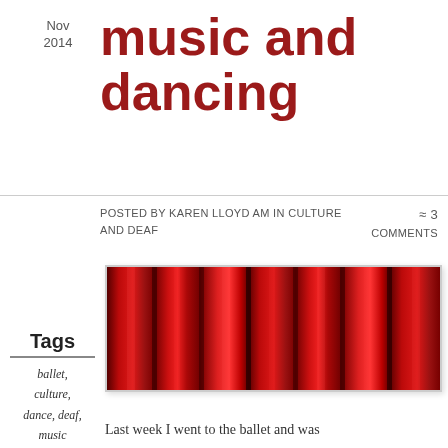Nov 2014
music and dancing
Posted by Karen Lloyd AM in Culture and Deaf ≈ 3 Comments
Tags
ballet,
culture,
dance, deaf,
music
[Figure (photo): Red theatre curtains, dramatic folds of deep red velvet fabric]
Last week I went to the ballet and was